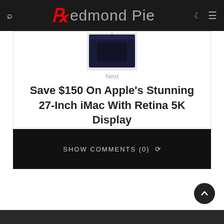Redmond Pie
[Figure (screenshot): Partial view of an Apple iMac with display showing a dark screen, floating above an article preview card]
Next
Save $150 On Apple's Stunning 27-Inch iMac With Retina 5K Display
SHOW COMMENTS (0) ˅